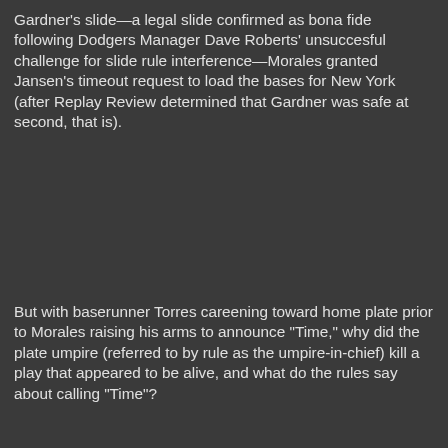Gardner's slide—a legal slide confirmed as bona fide following Dodgers Manager Dave Roberts' unsuccesful challenge for slide rule interference—Morales granted Jansen's timeout request to load the bases for New York (after Replay Review determined that Gardner was safe at second, that is).
But with baserunner Torres careening toward home plate prior to Morales raising his arms to announce "Time," why did the plate umpire (referred to by rule as the umpire-in-chief) kill a play that appeared to be alive, and what do the rules say about calling "Time"?
The Rule: Official Baseball Rule 5.12(b) governs this scenario, states, "The ball becomes dead when an umpire calls 'Time.' The umpire-in-chief shall call 'Time':", and is followed by a list of
[Figure (photo): Two umpires or an umpire and a player/manager in conversation on a baseball field. One person wears a black uniform and the other wears a light blue umpire uniform. A yellow 'UEFL' watermark is in the upper right corner.]
Morales explains his call to Aaron Boone